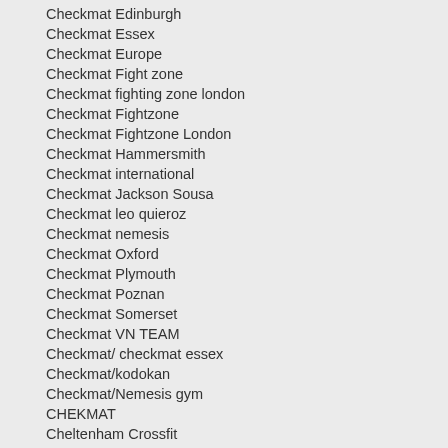Checkmat Edinburgh
Checkmat Essex
Checkmat Europe
Checkmat Fight zone
Checkmat fighting zone london
Checkmat Fightzone
Checkmat Fightzone London
Checkmat Hammersmith
Checkmat international
Checkmat Jackson Sousa
Checkmat leo quieroz
Checkmat nemesis
Checkmat Oxford
Checkmat Plymouth
Checkmat Poznan
Checkmat Somerset
Checkmat VN TEAM
Checkmat/ checkmat essex
Checkmat/kodokan
Checkmat/Nemesis gym
CHEKMAT
Cheltenham Crossfit
Cheltenham Jiu Jitsu
Cheltenham jiu-jitsu/ iron mann mma
Chepstow Bjj
Chi Mo Martial Arts Centre
Chippenham Town
Chiu BJJ
Chongshin Do Martial Arts
Chris Cleere Marlow BJJ